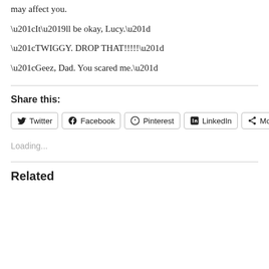may affect you.
“It’ll be okay, Lucy.”
“TWIGGY. DROP THAT!!!!!”
“Geez, Dad. You scared me.”
Share this:
Twitter  Facebook  Pinterest  LinkedIn  More
Loading...
Related